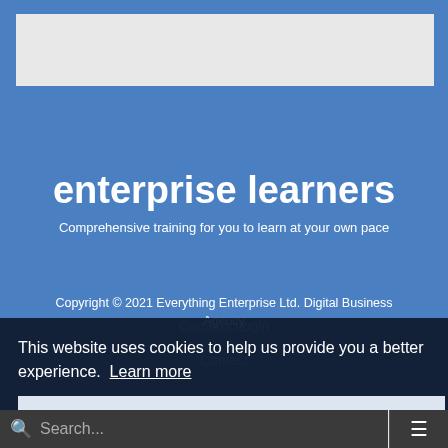[Figure (other): Gray placeholder logo/banner box at top of blue header]
enterprise learners
Comprehensive training for you to learn at your own pace
Copyright © 2021 Everything Enterprise Ltd. Digital Business Agency
Campus Login
Contact
This website uses cookies to help us provide you a better experience. Learn more
Got it!
Search...